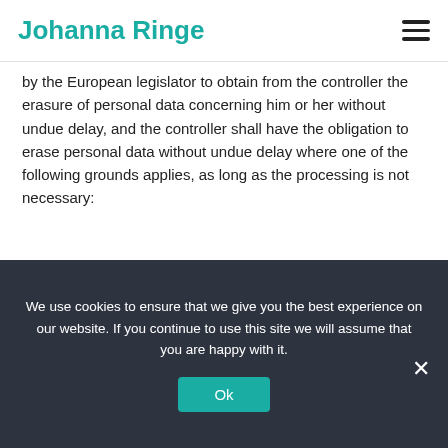Johanna Ringe
by the European legislator to obtain from the controller the erasure of personal data concerning him or her without undue delay, and the controller shall have the obligation to erase personal data without undue delay where one of the following grounds applies, as long as the processing is not necessary:
The personal data are no longer necessary in relation to the purposes ... :ted or
Thank you for visiting. If
We use cookies to ensure that we give you the best experience on our website. If you continue to use this site we will assume that you are happy with it.